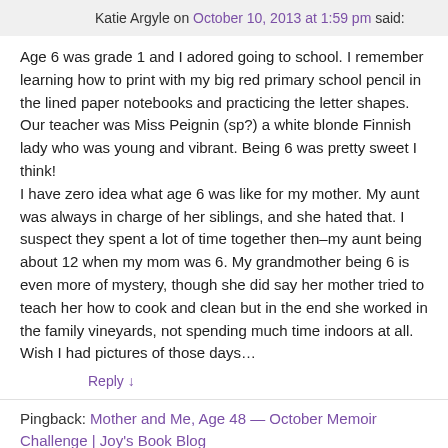Katie Argyle on October 10, 2013 at 1:59 pm said:
Age 6 was grade 1 and I adored going to school. I remember learning how to print with my big red primary school pencil in the lined paper notebooks and practicing the letter shapes. Our teacher was Miss Peignin (sp?) a white blonde Finnish lady who was young and vibrant. Being 6 was pretty sweet I think!
I have zero idea what age 6 was like for my mother. My aunt was always in charge of her siblings, and she hated that. I suspect they spent a lot of time together then–my aunt being about 12 when my mom was 6. My grandmother being 6 is even more of mystery, though she did say her mother tried to teach her how to cook and clean but in the end she worked in the family vineyards, not spending much time indoors at all.
Wish I had pictures of those days…
Reply ↓
Pingback: Mother and Me, Age 48 — October Memoir Challenge | Joy's Book Blog
Leave a Reply